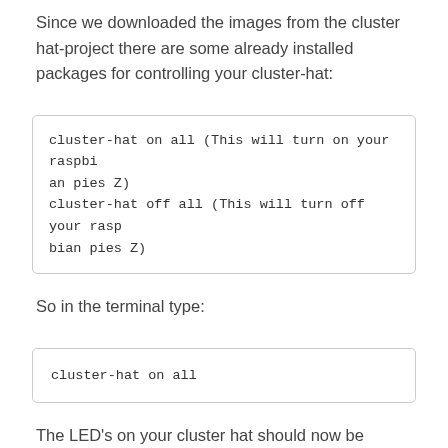Since we downloaded the images from the cluster hat-project there are some already installed packages for controlling your cluster-hat:
cluster-hat on all (This will turn on your raspbian pies Z)
cluster-hat off all (This will turn off your raspbian pies Z)
So in the terminal type:
cluster-hat on all
The LED's on your cluster hat should now be orange meaning that the full cluster is now online.
Step 6 –  Configurations
There are some configurations we'll (5) of th...